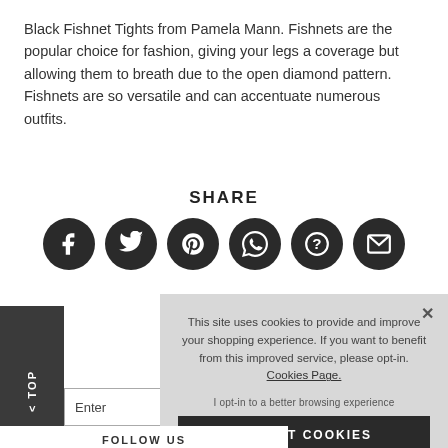Black Fishnet Tights from Pamela Mann. Fishnets are the popular choice for fashion, giving your legs a coverage but allowing them to breath due to the open diamond pattern. Fishnets are so versatile and can accentuate numerous outfits.
SHARE
[Figure (infographic): Six dark circular social share buttons: Facebook, Twitter, Pinterest, WhatsApp, Question/Help, Email]
[Figure (screenshot): Cookie consent overlay popup with text: This site uses cookies to provide and improve your shopping experience. If you want to benefit from this improved service, please opt-in. Cookies Page. I opt-in to a better browsing experience. ACCEPT COOKIES button. Close X button.]
< TOP
Enter
To see how
FOLLOW US